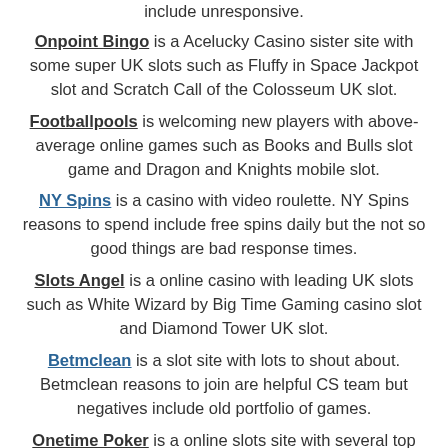include unresponsive.
Onpoint Bingo is a Acelucky Casino sister site with some super UK slots such as Fluffy in Space Jackpot slot and Scratch Call of the Colosseum UK slot.
Footballpools is welcoming new players with above-average online games such as Books and Bulls slot game and Dragon and Knights mobile slot.
NY Spins is a casino with video roulette. NY Spins reasons to spend include free spins daily but the not so good things are bad response times.
Slots Angel is a online casino with leading UK slots such as White Wizard by Big Time Gaming casino slot and Diamond Tower UK slot.
Betmclean is a slot site with lots to shout about. Betmclean reasons to join are helpful CS team but negatives include old portfolio of games.
Onetime Poker is a online slots site with several top slots